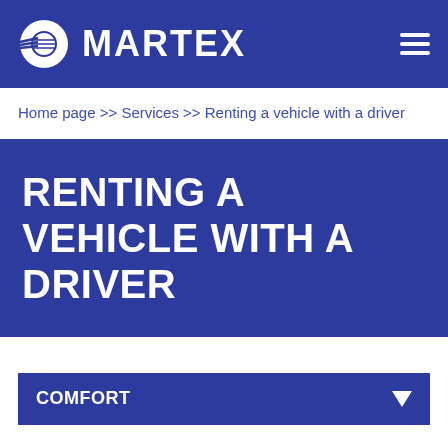MARTEX
Home page >> Services >> Renting a vehicle with a driver
RENTING A VEHICLE WITH A DRIVER
COMFORT